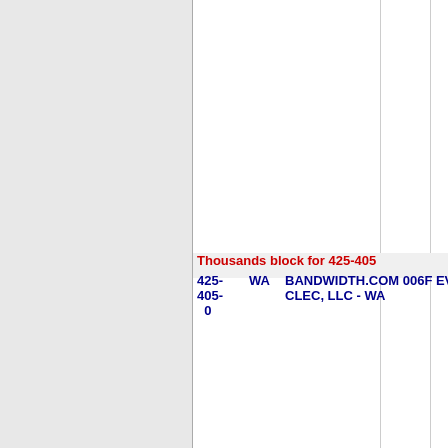| Number | State | Company |
| --- | --- | --- |
| Thousands block for 425-405 |  |  |
| 425-
405-
0 | WA | BANDWIDTH.COM 006F EV CLEC, LLC - WA |